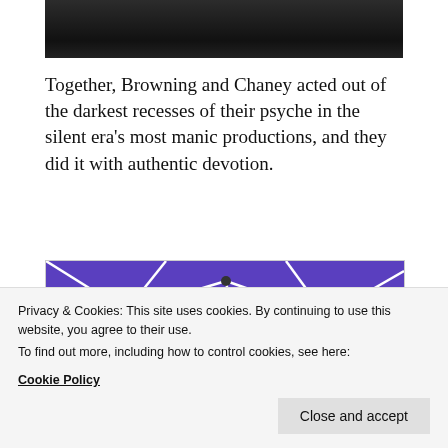[Figure (photo): Top portion of a black and white photograph, showing a dark background]
Together, Browning and Chaney acted out of the darkest recesses of their psyche in the silent era’s most manic productions, and they did it with authentic devotion.
[Figure (illustration): Colorful illustrated artwork showing text 'BROTHER GODWER' (partially visible) in red bubble letters on a purple background with white web-like patterns]
Privacy & Cookies: This site uses cookies. By continuing to use this website, you agree to their use.
To find out more, including how to control cookies, see here:
Cookie Policy
Close and accept